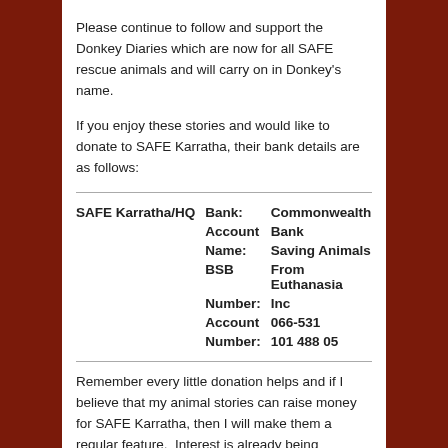Please continue to follow and support the Donkey Diaries which are now for all SAFE rescue animals and will carry on in Donkey's name.
If you enjoy these stories and would like to donate to SAFE Karratha, their bank details are as follows:
| SAFE Karratha/HQ | Bank: | Commonwealth |
|  | Account | Bank |
|  | Name: | Saving Animals |
|  | BSB | From Euthanasia |
|  | Number: | Inc |
|  | Account | 066-531 |
|  | Number: | 101 488 05 |
Remember every little donation helps and if I believe that my animal stories can raise money for SAFE Karratha, then I will make them a regular feature.  Interest is already being generated in other countries – Cyprus, USA, UK so I shall make it my mission to keep writing the stories to